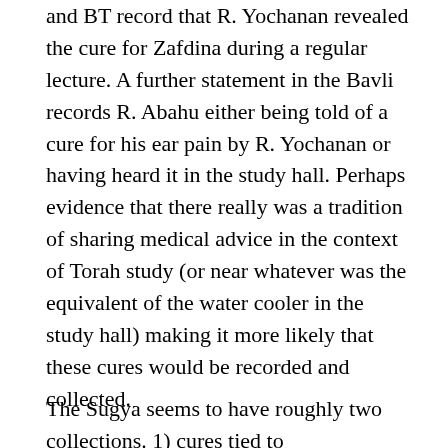and BT record that R. Yochanan revealed the cure for Zafdina during a regular lecture. A further statement in the Bavli records R. Abahu either being told of a cure for his ear pain by R. Yochanan or having heard it in the study hall. Perhaps evidence that there really was a tradition of sharing medical advice in the context of Torah study (or near whatever was the equivalent of the water cooler in the study hall) making it more likely that these cures would be recorded and collected.
The Sugya seems to have roughly two collections. 1) cures tied to